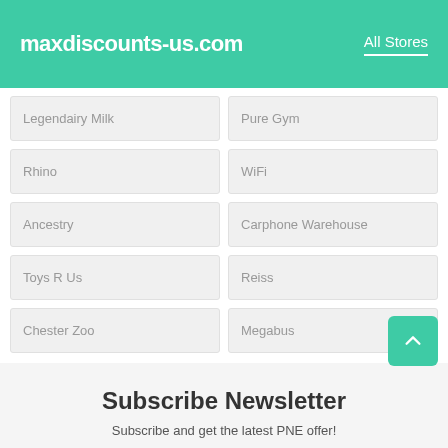maxdiscounts-us.com | All Stores
Legendairy Milk
Pure Gym
Rhino
WiFi
Ancestry
Carphone Warehouse
Toys R Us
Reiss
Chester Zoo
Megabus
Subscribe Newsletter
Subscribe and get the latest PNE offer!